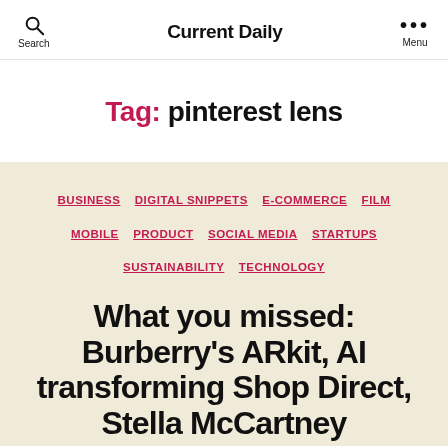Current Daily
Tag: pinterest lens
BUSINESS   DIGITAL SNIPPETS   E-COMMERCE   FILM   MOBILE   PRODUCT   SOCIAL MEDIA   STARTUPS   SUSTAINABILITY   TECHNOLOGY
What you missed: Burberry's ARkit, AI transforming Shop Direct, Stella McCartney